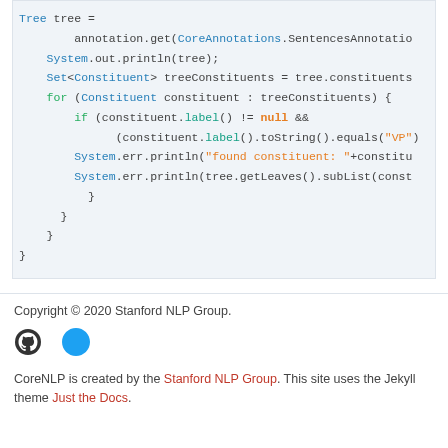[Figure (screenshot): Java code snippet showing Tree parsing with CoreAnnotations, constituent iteration, and System.err.println calls for found constituents]
Copyright © 2020 Stanford NLP Group.
[Figure (other): GitHub and Twitter social media icons]
CoreNLP is created by the Stanford NLP Group. This site uses the Jekyll theme Just the Docs.